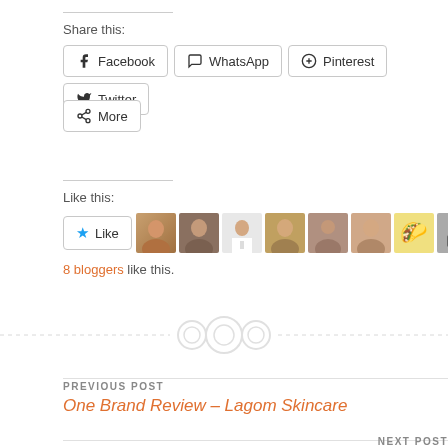Share this:
Facebook
WhatsApp
Pinterest
Twitter
More
Like this:
8 bloggers like this.
[Figure (other): Decorative three-circle divider with dashed horizontal rule]
PREVIOUS POST
One Brand Review – Lagom Skincare
NEXT POST